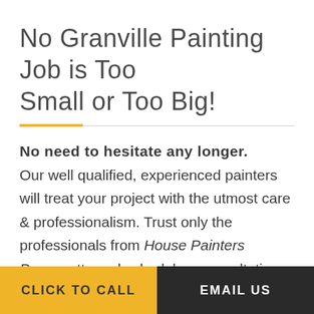No Granville Painting Job is Too Small or Too Big!
No need to hesitate any longer. Our well qualified, experienced painters will treat your project with the utmost care & professionalism. Trust only the professionals from House Painters Parramatta and schedule a consultation today.
CLICK TO CALL | EMAIL US